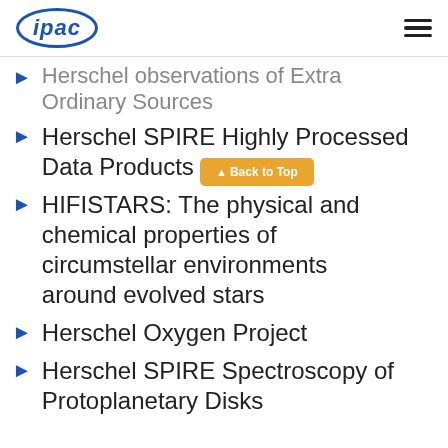ipac
Herschel observations of Extra Ordinary Sources
Herschel SPIRE Highly Processed Data Products
HIFISTARS: The physical and chemical properties of circumstellar environments around evolved stars
Herschel Oxygen Project
Herschel SPIRE Spectroscopy of Protoplanetary Disks